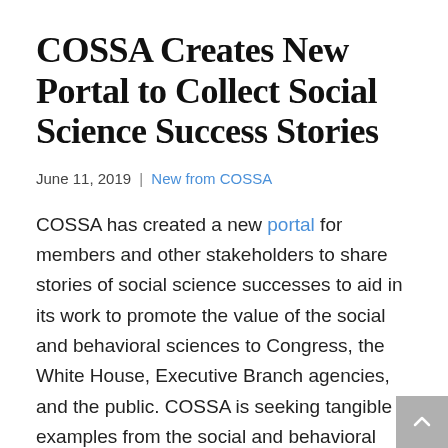COSSA Creates New Portal to Collect Social Science Success Stories
June 11, 2019 | New from COSSA
COSSA has created a new portal for members and other stakeholders to share stories of social science successes to aid in its work to promote the value of the social and behavioral sciences to Congress, the White House, Executive Branch agencies, and the public. COSSA is seeking tangible examples from the social and behavioral sciences to help make the